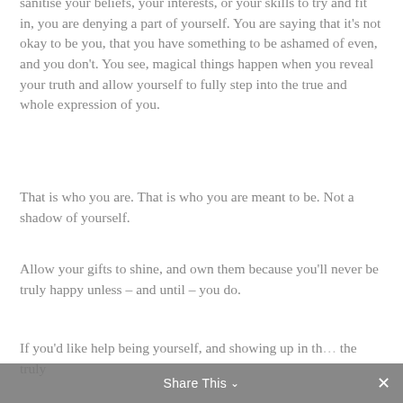sanitise your beliefs, your interests, or your skills to try and fit in, you are denying a part of yourself. You are saying that it's not okay to be you, that you have something to be ashamed of even, and you don't. You see, magical things happen when you reveal your truth and allow yourself to fully step into the true and whole expression of you.
That is who you are. That is who you are meant to be. Not a shadow of yourself.
Allow your gifts to shine, and own them because you'll never be truly happy unless – and until – you do.
If you'd like help being yourself, and showing up in th... the truly